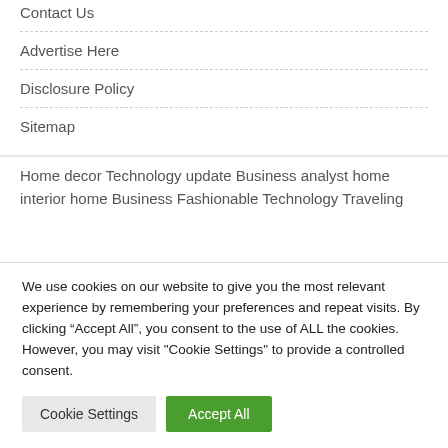Contact Us
Advertise Here
Disclosure Policy
Sitemap
Home decor Technology update Business analyst home interior home Business Fashionable Technology Traveling
We use cookies on our website to give you the most relevant experience by remembering your preferences and repeat visits. By clicking “Accept All”, you consent to the use of ALL the cookies. However, you may visit "Cookie Settings" to provide a controlled consent.